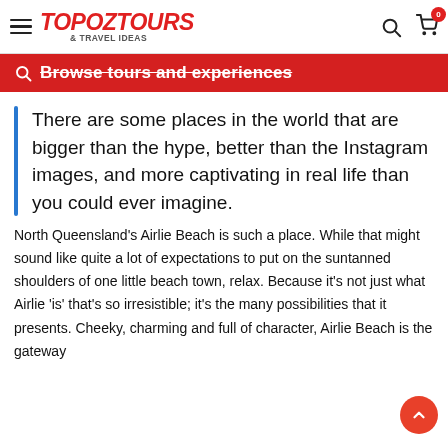TopOzTours & Travel Ideas — navigation header with hamburger menu, logo, search icon, cart icon with badge 0
Browse tours and experiences
There are some places in the world that are bigger than the hype, better than the Instagram images, and more captivating in real life than you could ever imagine.
North Queensland's Airlie Beach is such a place. While that might sound like quite a lot of expectations to put on the suntanned shoulders of one little beach town, relax. Because it's not just what Airlie 'is' that's so irresistible; it's the many possibilities that it presents. Cheeky, charming and full of character, Airlie Beach is the gateway